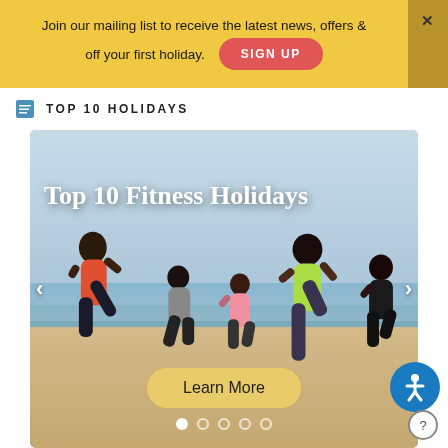Join our mailing list to receive the latest news, offers & off your first holiday.
SIGN UP
TOP 10 HOLIDAYS
[Figure (photo): Group of people doing high-knee exercises on a beach. Text overlay reads 'Top 10 Fitness Holidays'. Carousel navigation arrows on both sides. 'Learn More' button at bottom with 5 pagination dots.]